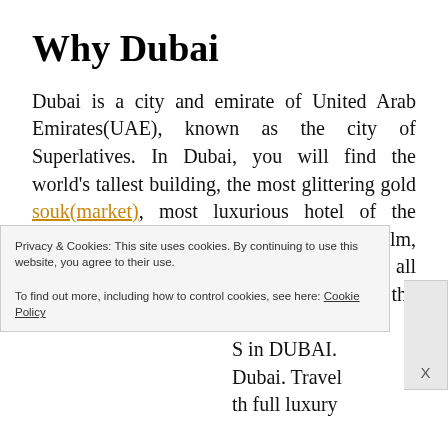Why Dubai
Dubai is a city and emirate of United Arab Emirates(UAE), known as the city of Superlatives. In Dubai, you will find the world's tallest building, the most glittering gold souk(market), most luxurious hotel of the world, largest man-made island The Palm, world's largest natural flower garden. This all makes Dubai the fastest growing city in the world. What to see in Dubai? So ... S in DUBAI. ... Dubai. Travel ... th full luxury
Privacy & Cookies: This site uses cookies. By continuing to use this website, you agree to their use.
To find out more, including how to control cookies, see here: Cookie Policy